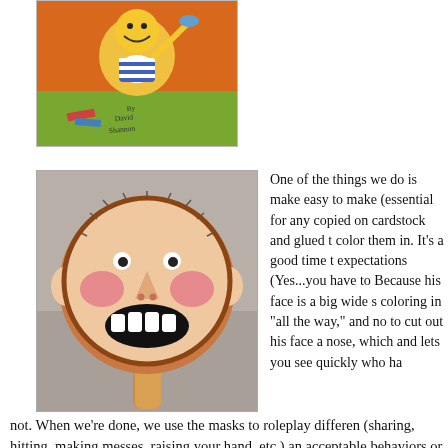[Figure (photo): Book cover illustration by David Shannon showing a cartoon child character, colorful with orange and green background]
[Figure (photo): A handmade David Shannon character mask on a popsicle stick, showing a round face with big teeth, rosy cheeks, and small ears]
One of the things we do is make easy to make (essential for any copied on cardstock and glued t color them in. It's a good time t expectations (Yes...you have to Because his face is a big wide s coloring in "all the way," and no to cut out his face a nose, which and lets you see quickly who ha not. When we're done, we use the masks to roleplay different (sharing, hitting, making messes, raising your hand, etc.) and acceptable behaviors or not. (The kids love to roleplay the b brainstorm our class rules together and I write them on a ch